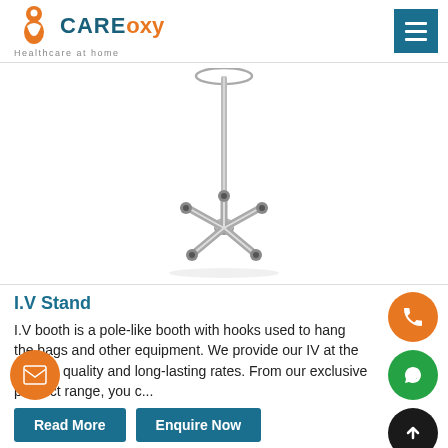CareOxy - Healthcare at home
[Figure (photo): IV Stand product photo showing a chrome metal pole with wheeled five-star base]
I.V Stand
I.V booth is a pole-like booth with hooks used to hang the bags and other equipment. We provide our IV at the highest quality and long-lasting rates. From our exclusive product range, you c...